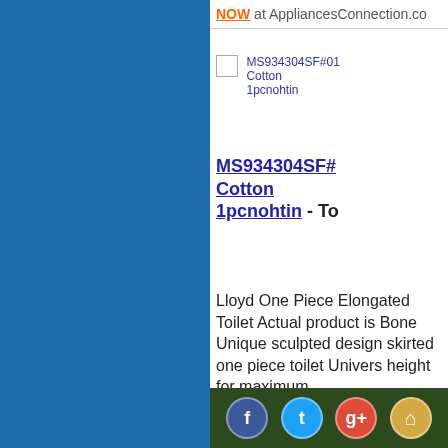NOW at AppliancesConnection.co
[Figure (photo): Small broken image placeholder for product MS934304SF#01 Cotton 1pcnohtin]
MS934304SF#01 Cotton 1pcnohtin
MS934304SF# Cotton 1pcnohtin - To
Lloyd One Piece Elongated Toilet Actual product is Bone Unique sculpted design skirted one piece toilet Univers height for maximum
[Figure (infographic): Footer social media icons bar with Facebook, Twitter, Google+, and Home icons on dark green background]